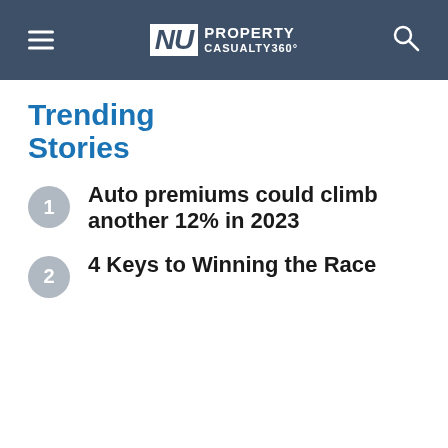NU PROPERTY CASUALTY360°
Trending Stories
1. Auto premiums could climb another 12% in 2023
2. 4 Keys to Winning the Race